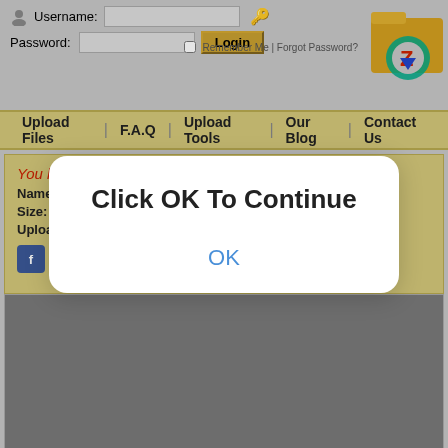[Figure (screenshot): Website login bar with Username and Password fields, Login button, Remember Me checkbox, Forgot Password link, and a folder/zip logo in the top right]
Upload Files | F.A.Q | Upload Tools | Our Blog | Contact Us
You have requested the file:
Name: [ Megano... VOLUME 004.pdf
Size: 24.48 MB
Uploaded: 29-07-2021 09:33
[Figure (screenshot): Social sharing icons row: Facebook, Twitter, Pinterest, Reddit, Instagram, Email, Plus]
[Figure (screenshot): Modal dialog overlay with text 'Click OK To Continue' and an OK button]
[Figure (screenshot): Gray advertisement/content area below the file info section]